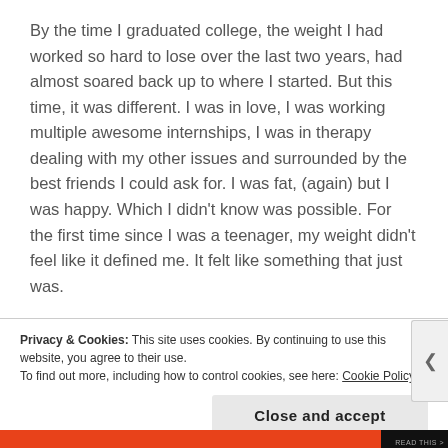By the time I graduated college, the weight I had worked so hard to lose over the last two years, had almost soared back up to where I started. But this time, it was different. I was in love, I was working multiple awesome internships, I was in therapy dealing with my other issues and surrounded by the best friends I could ask for. I was fat, (again) but I was happy. Which I didn't know was possible. For the first time since I was a teenager, my weight didn't feel like it defined me. It felt like something that just was.
Privacy & Cookies: This site uses cookies. By continuing to use this website, you agree to their use.
To find out more, including how to control cookies, see here: Cookie Policy
Close and accept